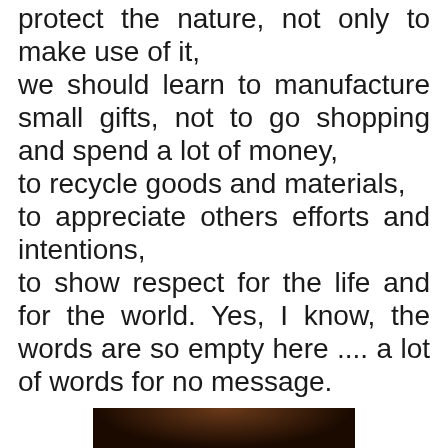protect the nature, not only to make use of it, we should learn to manufacture small gifts, not to go shopping and spend a lot of money, to recycle goods and materials, to appreciate others efforts and intentions, to show respect for the life and for the world. Yes, I know, the words are so empty here .... a lot of words for no message.
[Figure (photo): Dark brown background image with white italic text reading 'You make the World']